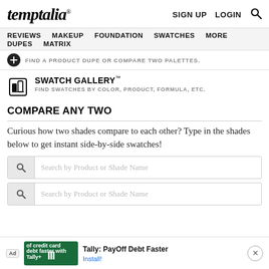temptalia® — SIGN UP  LOGIN  🔍
REVIEWS  MAKEUP  FOUNDATION  SWATCHES  MORE  DUPES  MATRIX
FIND A PRODUCT DUPE OR COMPARE TWO PALETTES.
SWATCH GALLERY™ — FIND SWATCHES BY COLOR, PRODUCT, FORMULA, ETC.
COMPARE ANY TWO
Curious how two shades compare to each other? Type in the shades below to get instant side-by-side swatches!
Search by Product or Shade Name
Search by Product or Shade Name
Ad — Tally: PayOff Debt Faster — Install!